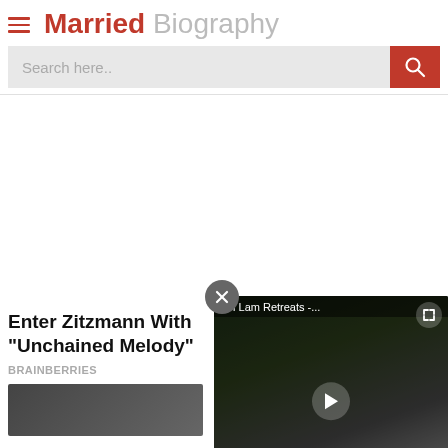Married Biography
Search here..
Enter Zitzmann With "Unchained Melody"
BRAINBERRIES
[Figure (screenshot): Video player overlay titled 'An Lam Retreats -...' showing a dark outdoor scene with a play button]
Next Bio >>  Catelynn L